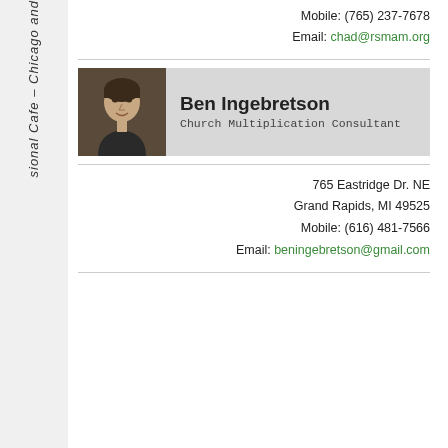sional Cafe – Chicago and
Mobile: (765) 237-7678
Email: chad@rsmam.org
[Figure (photo): Headshot photo of Ben Ingebretson, a man in a dark shirt smiling]
Ben Ingebretson
Church Multiplication Consultant
765 Eastridge Dr. NE
Grand Rapids, MI 49525
Mobile: (616) 481-7566
Email: beningebretson@gmail.com